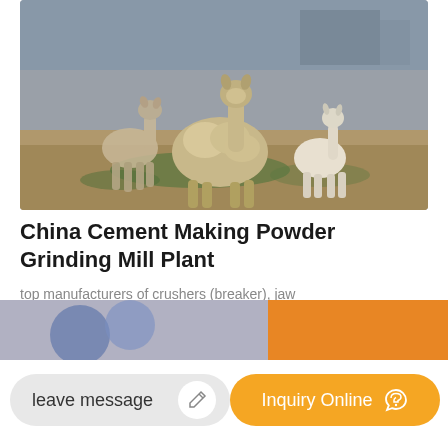[Figure (photo): Photo of alpacas (llamas) standing on dry dirt ground with sparse green grass patches. Two adult alpacas and one smaller white one visible.]
China Cement Making Powder Grinding Mill Plant
top manufacturers of crushers (breaker), jaw crusher, impact crusher (impactor), ball mill, grinding mill, raymond mill, sand making machine, sand washing
[Figure (screenshot): Bottom navigation bar with 'leave message' button (gray pill shape with pencil icon) and 'Inquiry Online' button (orange pill shape with headset icon). Below shows partial colorful image.]